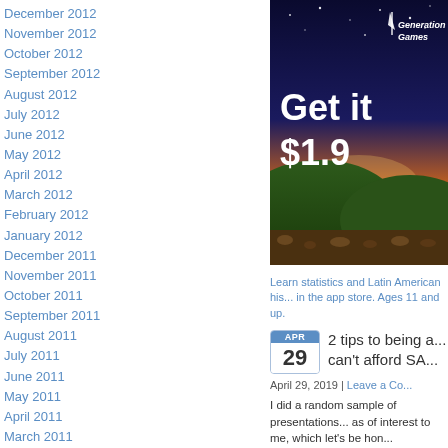December 2012
November 2012
October 2012
September 2012
August 2012
July 2012
June 2012
May 2012
April 2012
March 2012
February 2012
January 2012
December 2011
November 2011
October 2011
September 2011
August 2011
July 2011
June 2011
May 2011
April 2011
March 2011
February 2011
January 2011
December 2010
November 2010
[Figure (illustration): Generation Games advertisement showing night sky with mountains, logo at top, text 'Get it $1.9']
Learn statistics and Latin American his... in the app store. Ages 11 and up.
2 tips to being a... can't afford SA...
April 29, 2019 | Leave a Co...
I did a random sample of presentations... as of interest to me, which let's be hon...